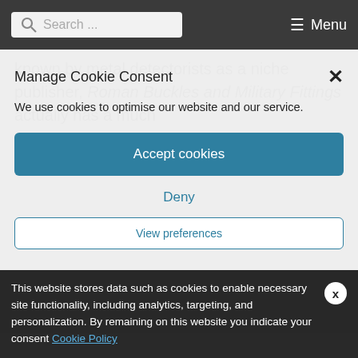Search ... Menu
known by metal detectorists as a niche publisher, Roman Buckles and Military Fittings actually has a much
Manage Cookie Consent
We use cookies to optimise our website and our service.
Accept cookies
Deny
View preferences
This website stores data such as cookies to enable necessary site functionality, including analytics, targeting, and personalization. By remaining on this website you indicate your consent Cookie Policy